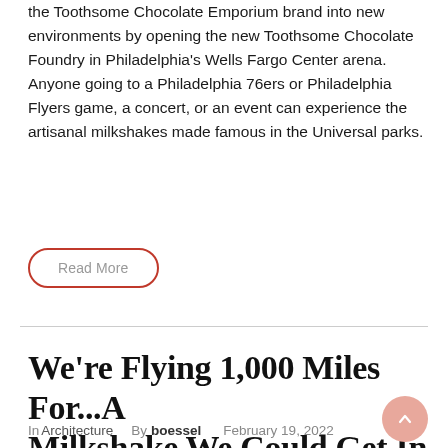the Toothsome Chocolate Emporium brand into new environments by opening the new Toothsome Chocolate Foundry in Philadelphia's Wells Fargo Center arena. Anyone going to a Philadelphia 76ers or Philadelphia Flyers game, a concert, or an event can experience the artisanal milkshakes made famous in the Universal parks.
Read More
We're Flying 1,000 Miles For...A Milkshake We Could Get In Orlando?
In Architecture  By boessel  February 19, 2022